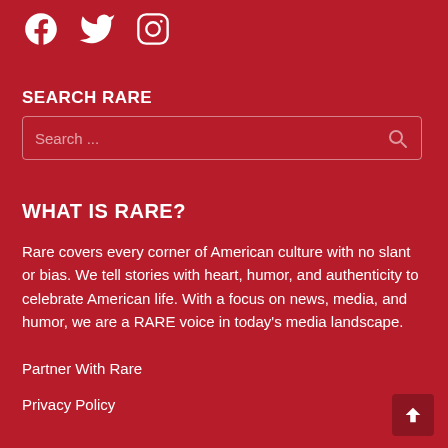[Figure (logo): Social media icons: Facebook, Twitter, Instagram in white on dark red background]
SEARCH RARE
[Figure (other): Search input box with placeholder text 'Search ...' and a search icon on the right]
WHAT IS RARE?
Rare covers every corner of American culture with no slant or bias. We tell stories with heart, humor, and authenticity to celebrate American life. With a focus on news, media, and humor, we are a RARE voice in today's media landscape.
Partner With Rare
Privacy Policy